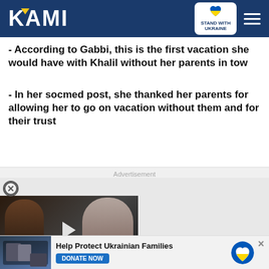KAMI | STAND WITH UKRAINE
- According to Gabbi, this is the first vacation she would have with Khalil without her parents in tow
- In her socmed post, she thanked her parents for allowing her to go on vacation without them and for their trust
Advertisement
[Figure (screenshot): Video thumbnail showing two women, with play button overlay and label 'A SINGLE REMARK LED HER TO ADDICTION'; a red chevron-down button is visible]
[Figure (screenshot): Donate banner: Help Protect Ukrainian Families, DONATE NOW button, Ukrainian heart badge, and close X button]